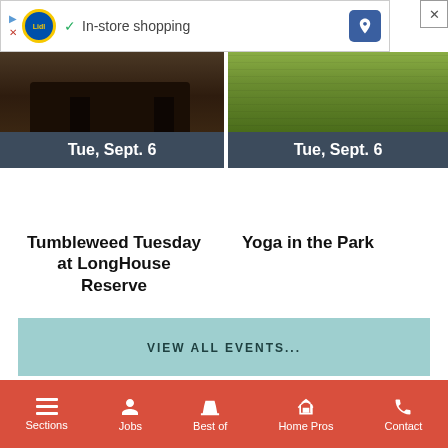[Figure (screenshot): Advertisement banner for Lidl showing in-store shopping with play/close icons, Lidl logo, checkmark, text 'In-store shopping', and a blue direction arrow icon. Close button (X) at top right.]
[Figure (photo): Left event card photo showing dark furniture/piano scene with a date bar 'Tue, Sept. 6' in dark slate color below]
[Figure (photo): Right event card photo showing green grass/outdoor scene with a date bar 'Tue, Sept. 6' in dark slate color below]
Tumbleweed Tuesday at LongHouse Reserve
Yoga in the Park
VIEW ALL EVENTS...
Sections | Jobs | Best of | Home Pros | Contact